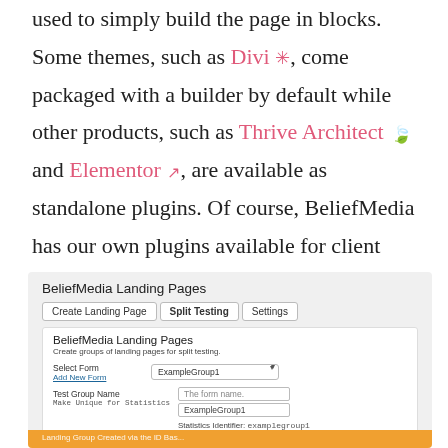used to simply build the page in blocks. Some themes, such as Divi *, come packaged with a builder by default while other products, such as Thrive Architect 🍃 and Elementor ↗, are available as standalone plugins. Of course, BeliefMedia has our own plugins available for client use.
[Figure (screenshot): Screenshot of BeliefMedia Landing Pages plugin interface showing tabs: Create Landing Page, Split Testing (active), Settings. Below is a form with fields: Select Form (ExampleGroup1 dropdown, Add New Form link), Test Group Name / Make Unique for Statistics (The form name input, ExampleGroup1 input, Statistics Identifier: examplegroup1), Campaign Group (partially visible). An orange bar at the bottom shows partially visible text.]